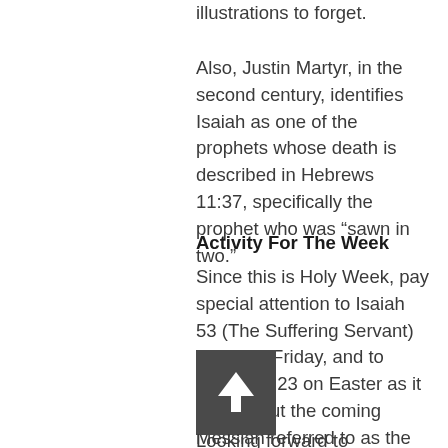illustrations to forget.
Also, Justin Martyr, in the second century, identifies Isaiah as one of the prophets whose death is described in Hebrews 11:37, specifically the prophet who was “sawn in two.”
Activity For The Week
Since this is Holy Week, pay special attention to Isaiah 53 (The Suffering Servant) on Good Friday, and to Jeremiah 23 on Easter as it talks about the coming Messiah referred to as the Righteous Branch, and the name by which He is called is “The Lord Our Righteousness.”
Looking forward to celebrating the